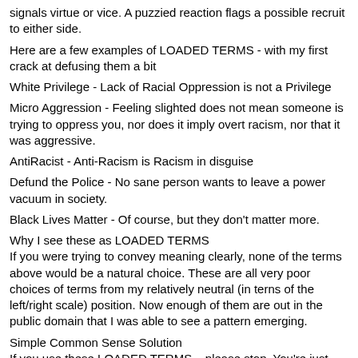signals virtue or vice. A puzzied reaction flags a possible recruit to either side.
Here are a few examples of LOADED TERMS - with my first crack at defusing them a bit
White Privilege - Lack of Racial Oppression is not a Privilege
Micro Aggression - Feeling slighted does not mean someone is trying to oppress you, nor does it imply overt racism, nor that it was aggressive.
AntiRacist - Anti-Racism is Racism in disguise
Defund the Police - No sane person wants to leave a power vacuum in society.
Black Lives Matter - Of course, but they don't matter more.
Why I see these as LOADED TERMS
If you were trying to convey meaning clearly, none of the terms above would be a natural choice. These are all very poor choices of terms from my relatively neutral (in terns of the left/right scale) position. Now enough of them are out in the public domain that I was able to see a pattern emerging.
Simple Common Sense Solution
If you use these LOADED TERMS... please stop. You're just dividing society for no good reason.
If you are targeted by these LOADED TERMS, choose your own